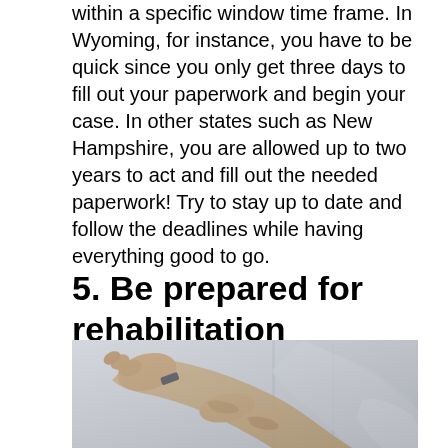within a specific window time frame. In Wyoming, for instance, you have to be quick since you only get three days to fill out your paperwork and begin your case. In other states such as New Hampshire, you are allowed up to two years to act and fill out the needed paperwork! Try to stay up to date and follow the deadlines while having everything good to go.
5. Be prepared for rehabilitation
[Figure (photo): A therapist holding and examining a patient's foot/ankle, performing physical rehabilitation or assessment.]